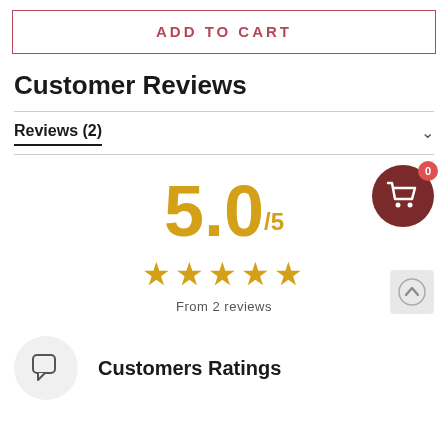ADD TO CART
Customer Reviews
Reviews (2)
[Figure (infographic): Rating display showing 5.0 out of 5 stars, five gold stars, and 'From 2 reviews' text. Includes a shopping cart icon with badge showing 0, and a scroll-up button.]
Customers Ratings